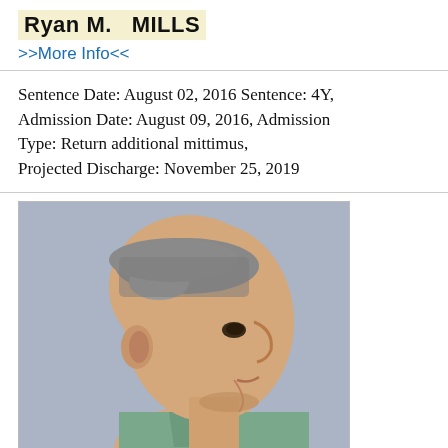Ryan M.  MILLS
>>More Info<<
Sentence Date: August 02, 2016 Sentence: 4Y, Admission Date: August 09, 2016, Admission Type: Return additional mittimus, Projected Discharge: November 25, 2019
[Figure (photo): Side profile mugshot photo of Ryan M. Mills, a white male with a shaved head, facing right, wearing a green/teal shirt, against a light blue-grey background.]